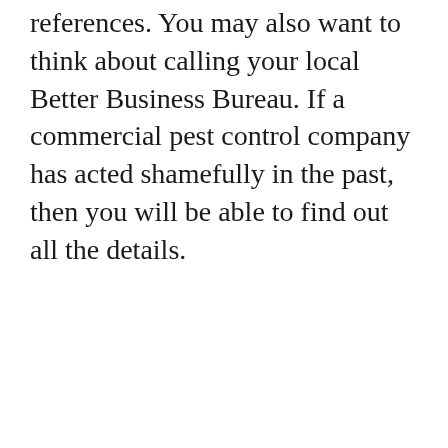references. You may also want to think about calling your local Better Business Bureau. If a commercial pest control company has acted shamefully in the past, then you will be able to find out all the details.